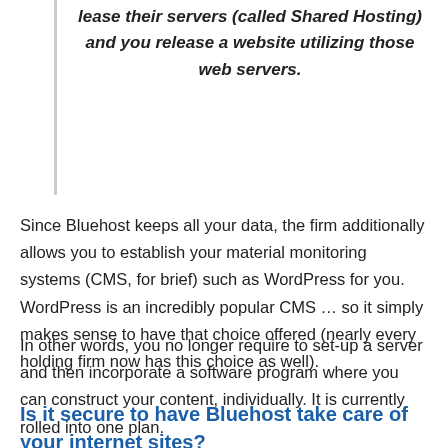lease their servers (called Shared Hosting) and you release a website utilizing those web servers.
Since Bluehost keeps all your data, the firm additionally allows you to establish your material monitoring systems (CMS, for brief) such as WordPress for you. WordPress is an incredibly popular CMS … so it simply makes sense to have that choice offered (nearly every holding firm now has this choice as well).
In other words, you no longer require to set-up a server and then incorporate a software program where you can construct your content, individually. It is currently rolled into one plan.
Is it secure to have Bluehost take care of your internet sites?